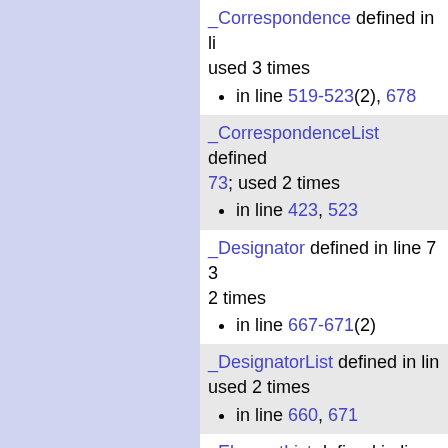_Correspondence defined in li... used 3 times
  • in line 519-523(2), 678
_CorrespondenceList defined ... 73; used 2 times
  • in line 423, 523
_Designator defined in line 73... 2 times
  • in line 667-671(2)
_DesignatorList defined in lin... used 2 times
  • in line 660, 671
_ElementList defined in line 7... used 2 times
  • in line 318, 377
_ErrorList defined in line 74;... times
  • in line 452
_Field defined in line 74; used... times
  • in line 722-726(2)
_Field2 defined in li...